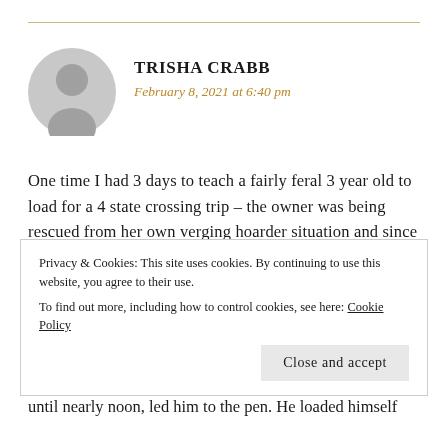TRISHA CRABB
February 8, 2021 at 6:40 pm
One time I had 3 days to teach a fairly feral 3 year old to load for a 4 state crossing trip – the owner was being rescued from her own verging hoarder situation and since she literally could never face anything hard, it fell to me to get that young man out the door. Day 1 I did not feed him any hay all day or dinner, in the morning I threw all caution to the wind. parked the trailer in the round pen and sat in the
Privacy & Cookies: This site uses cookies. By continuing to use this website, you agree to their use.
To find out more, including how to control cookies, see here: Cookie Policy
Close and accept
until nearly noon, led him to the pen. He loaded himself